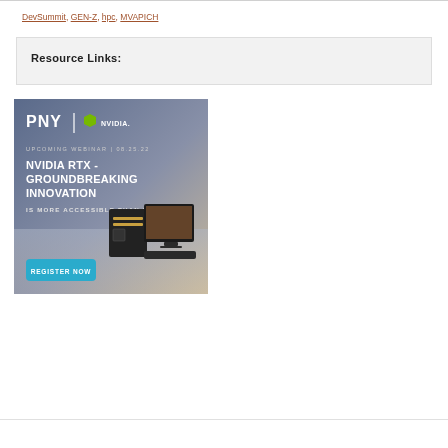DevSummit, GEN-Z, hpc, MVAPICH
Resource Links:
[Figure (illustration): PNY and NVIDIA advertisement banner for upcoming webinar on 08.25.22: NVIDIA RTX - Groundbreaking Innovation is more accessible than ever. Shows a workstation PC and monitor with a Register Now button.]